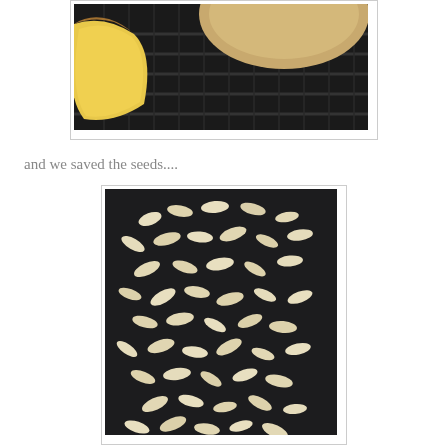[Figure (photo): Photo of bread sliced on a wire cooling rack, showing golden-yellow interior crumb and brown crust, on a dark background.]
and we saved the seeds....
[Figure (photo): Photo of many pumpkin seeds spread out on a dark baking tray, seeds are light beige/white colored.]